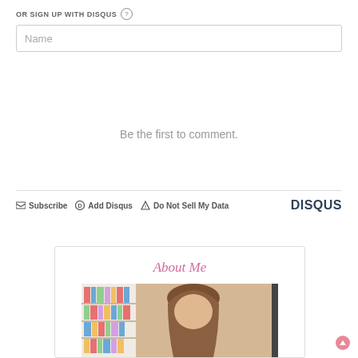OR SIGN UP WITH DISQUS ?
Name
Be the first to comment.
Subscribe  Add Disqus  Do Not Sell My Data  DISQUS
About Me
[Figure (photo): Photo of a person with brown hair in front of a bookshelf]